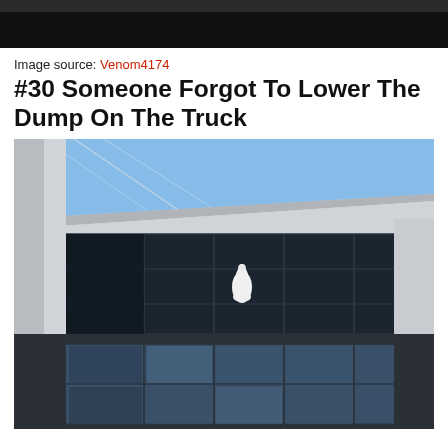[Figure (photo): Top portion of a photo showing a dark/black scene, partially cropped at the top of the page.]
Image source: Venom4174
#30 Someone Forgot To Lower The Dump On The Truck
[Figure (photo): Photograph of a modern building exterior with glass curtain wall windows and metal cladding. A white bowling pin is lodged or stuck against the building facade between floors, likely describing the result of a dump truck with its bed raised hitting the structure.]